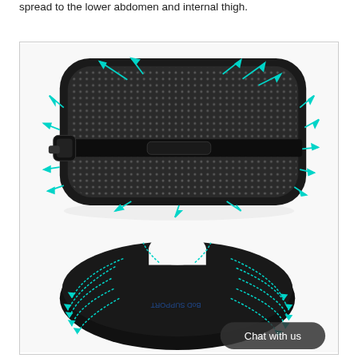spread to the lower abdomen and internal thigh.
[Figure (photo): Product photo showing two items: a black mesh lumbar support cushion with cyan directional arrows indicating pressure distribution, and a black memory foam seat cushion (coccyx/orthopedic style) with cyan dotted arrows showing weight distribution. A 'Chat with us' button overlay is visible in the lower right corner.]